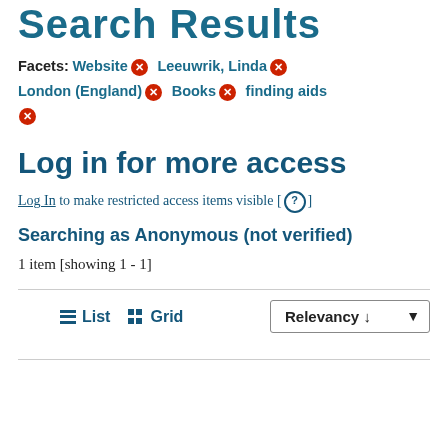Search Results
Facets: Website × Leeuwrik, Linda × London (England) × Books × finding aids ×
Log in for more access
Log In to make restricted access items visible [ ? ]
Searching as Anonymous (not verified)
1 item [showing 1 - 1]
≡ List  ⊞ Grid    Relevancy ↓